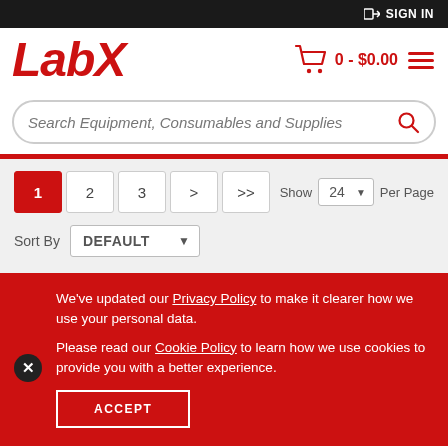SIGN IN
[Figure (logo): LabX logo in red italic bold text]
0 - $0.00
Search Equipment, Consumables and Supplies
1  2  3  >  >>  Show 24 Per Page  Sort By DEFAULT
We've updated our Privacy Policy to make it clearer how we use your personal data.

Please read our Cookie Policy to learn how we use cookies to provide you with a better experience.
ACCEPT